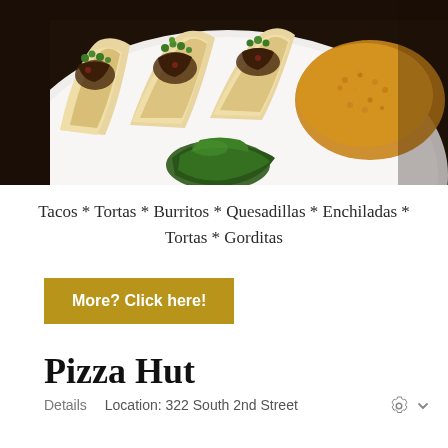[Figure (photo): A white plate with three tacos topped with meat, beans, and cilantro, a roasted poblano pepper in the center, and Spanish rice on the right side, all on a dark wooden table.]
Tacos * Tortas * Burritos * Quesadillas * Enchiladas * Tortas * Gorditas
More? Click here!
Pizza Hut
Details    Location: 322 South 2nd Street